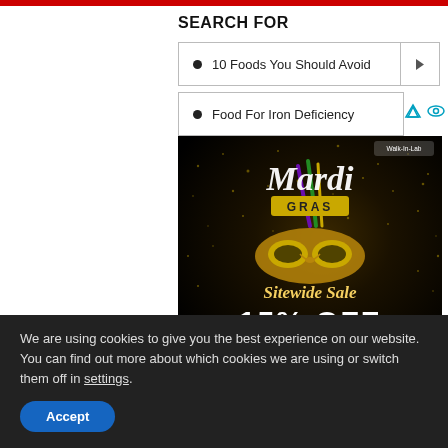SEARCH FOR
10 Foods You Should Avoid
Food For Iron Deficiency
[Figure (photo): Mardi Gras advertisement banner: black background with gold glitter, feathered mask, text reading 'Mardi GRAS Sitewide Sale 15% OFF USE CODE: PARTYSALE', Walk-In-Lab logo in top right]
We are using cookies to give you the best experience on our website. You can find out more about which cookies we are using or switch them off in settings.
Accept